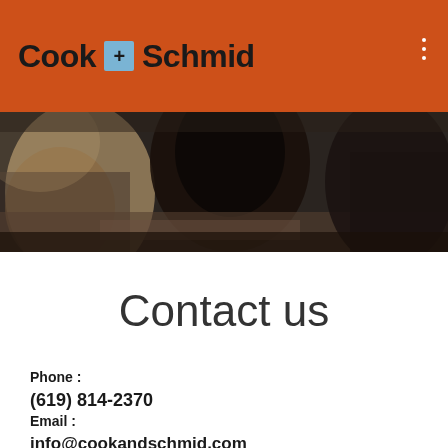Cook + Schmid
[Figure (photo): Overhead photo of people working at a desk/table, dark-toned image]
Contact us
Phone :
(619) 814-2370
Email :
info@cookandschmid.com